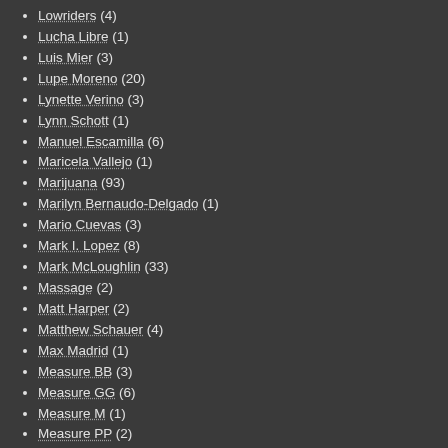Lowriders (4)
Lucha Libre (1)
Luis Mier (3)
Lupe Moreno (20)
Lynette Verino (3)
Lynn Schott (1)
Manuel Escamilla (6)
Maricela Vallejo (1)
Marijuana (93)
Marilyn Bernaudo-Delgado (1)
Mario Cuevas (3)
Mark I. Lopez (8)
Mark McLoughlin (33)
Massage (2)
Matt Harper (2)
Matthew Schauer (4)
Max Madrid (1)
Measure BB (3)
Measure GG (6)
Measure M (1)
Measure PP (2)
Media Links (17)
Mental Health (46)